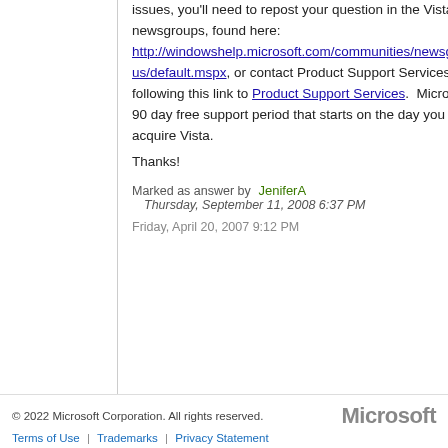issues, you'll need to repost your question in the Vista pubic newsgroups, found here: http://windowshelp.microsoft.com/communities/newsgroups/en-us/default.mspx, or contact Product Support Services by following this link to Product Support Services.  Microsoft has a 90 day free support period that starts on the day you first acquire Vista.
Thanks!
Marked as answer by  JeniferA
Thursday, September 11, 2008 6:37 PM
Friday, April 20, 2007 9:12 PM
© 2022 Microsoft Corporation. All rights reserved.
Terms of Use  |  Trademarks  |  Privacy Statement